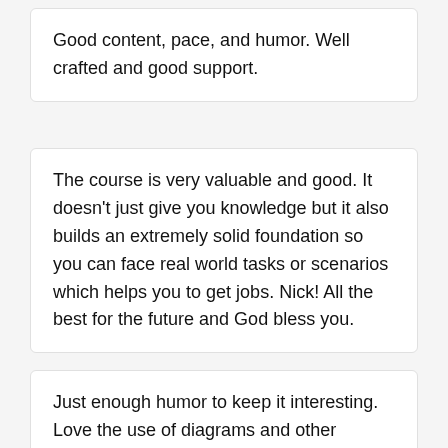Good content, pace, and humor. Well crafted and good support.
The course is very valuable and good. It doesn't just give you knowledge but it also builds an extremely solid foundation so you can face real world tasks or scenarios which helps you to get jobs. Nick! All the best for the future and God bless you.
Just enough humor to keep it interesting. Love the use of diagrams and other analogies to